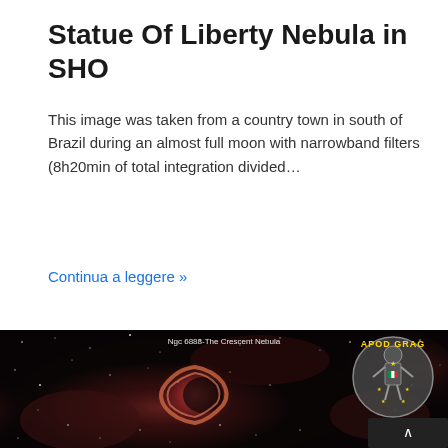Statue Of Liberty Nebula in SHO
This image was taken from a country town in south of Brazil during an almost full moon with narrowband filters (8h20min of total integration divided…
Continua a leggere »
[Figure (photo): Astronomical photograph of the Crescent Nebula (NGC 6888) against a dark star field with red nebulosity, labeled 'Ngc 6888-The Crescent Nebula'. An APOD GRAG logo/badge appears in the upper right of the image.]